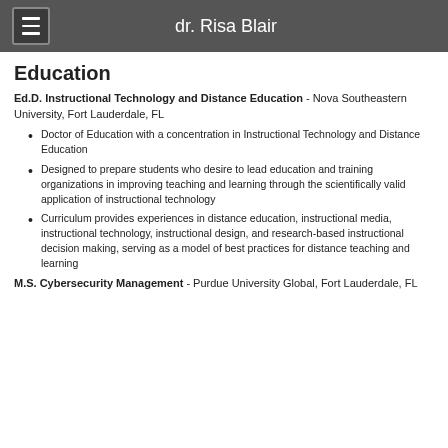dr. Risa Blair
Education
Ed.D. Instructional Technology and Distance Education - Nova Southeastern University, Fort Lauderdale, FL
Doctor of Education with a concentration in Instructional Technology and Distance Education
Designed to prepare students who desire to lead education and training organizations in improving teaching and learning through the scientifically valid application of instructional technology
Curriculum provides experiences in distance education, instructional media, instructional technology, instructional design, and research-based instructional decision making, serving as a model of best practices for distance teaching and learning
M.S. Cybersecurity Management - Purdue University Global, Fort Lauderdale, FL